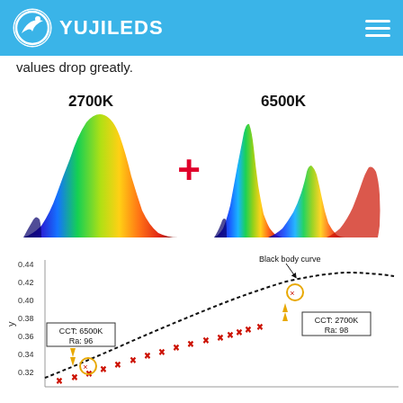YUJILEDS
values drop greatly.
[Figure (illustration): Two spectral power distribution curves: left labeled 2700K showing warm spectrum peaking in red/orange, and right labeled 6500K showing cool spectrum with blue and green/red peaks, combined with a plus sign between them.]
[Figure (continuous-plot): CIE chromaticity or u'v' diagram showing black body curve (dotted line) with two data points marked: CCT 6500K Ra 96 (lower left area, circled in orange) and CCT 2700K Ra 98 (upper right area, circled in orange). Red x marks show scattered data points. Y-axis from ~0.32 to 0.44, arrows pointing to the two circled points.]